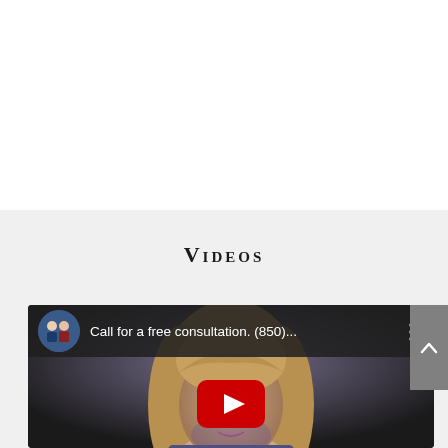Videos
[Figure (screenshot): YouTube video embed showing a woman's face with the title 'Call for a free consultation. (850)...' and a red YouTube play button. The video channel avatar shows two people in professional attire.]